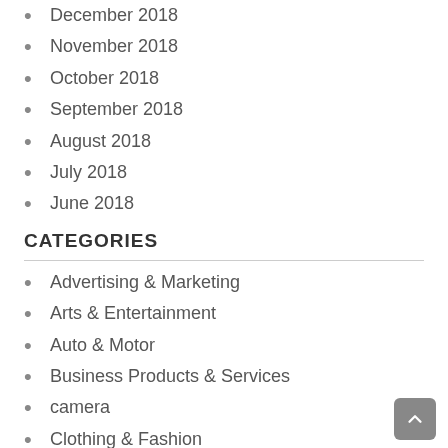December 2018
November 2018
October 2018
September 2018
August 2018
July 2018
June 2018
CATEGORIES
Advertising & Marketing
Arts & Entertainment
Auto & Motor
Business Products & Services
camera
Clothing & Fashion
computer gaming
definition of Technology
emerging technology
Employment
Financial
Foods & Culinary
Future